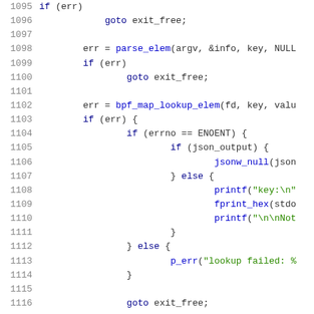Source code lines 1095-1116 showing C code with BPF map lookup logic